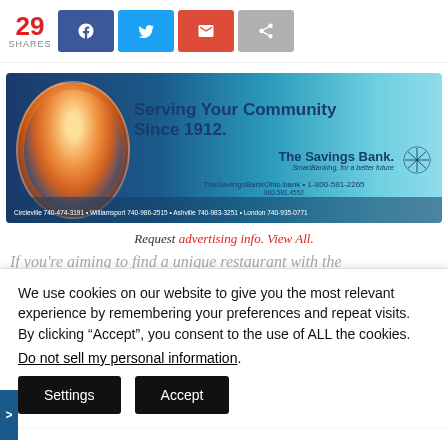29 SHARES
[Figure (infographic): The Savings Bank advertisement banner: 'Serving Your Community Since 1912.' with child photo, bank logo, contact info, and branch locations.]
Request advertising info. View All.
If you're aiming to find a unique restaurant with the
We use cookies on our website to give you the most relevant experience by remembering your preferences and repeat visits. By clicking "Accept", you consent to the use of ALL the cookies.
Do not sell my personal information.
Settings  Accept